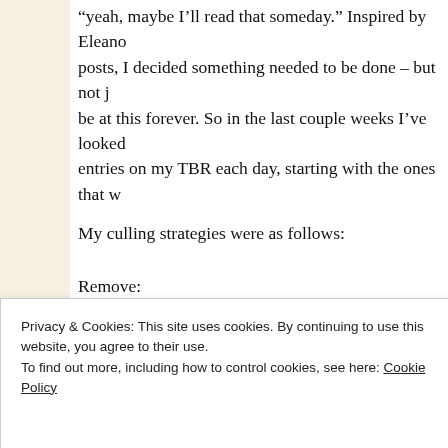“yeah, maybe I’ll read that someday.” Inspired by Eleano posts, I decided something needed to be done – but not j be at this forever. So in the last couple weeks I’ve looked entries on my TBR each day, starting with the ones that w
My culling strategies were as follows:
Remove:
Any duplicates – it’s possible to add multiple edit
Privacy & Cookies: This site uses cookies. By continuing to use this website, you agree to their use.
To find out more, including how to control cookies, see here: Cookie Policy
Close and accept
or mystery – just facing facts here. I don’t ever r